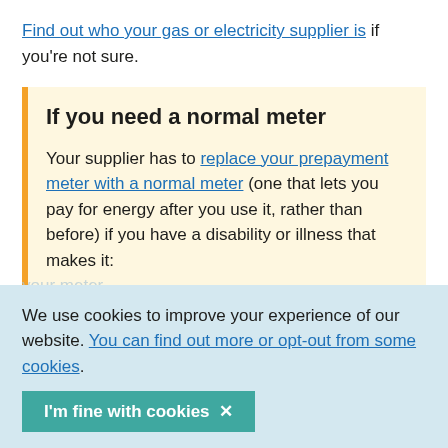Find out who your gas or electricity supplier is if you're not sure.
If you need a normal meter
Your supplier has to replace your prepayment meter with a normal meter (one that lets you pay for energy after you use it, rather than before) if you have a disability or illness that makes it:
hard for you to use, read or put money on
We use cookies to improve your experience of our website. You can find out more or opt-out from some cookies.